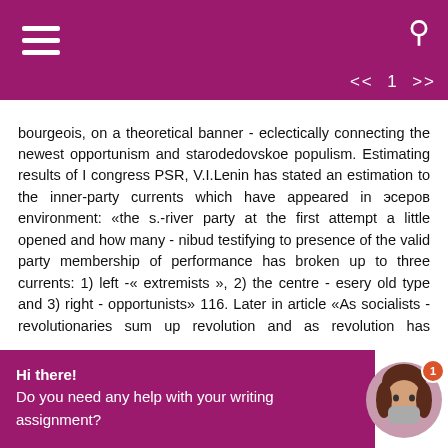Navigation bar with hamburger menu, search icon, and << 1 >> arrows
bourgeois, on a theoretical banner - eclectically connecting the newest opportunism and starodedovskoe populism. Estimating results of I congress PSR, V.I.Lenin has stated an estimation to the inner-party currents which have appeared in эсеров environment: «the s.-river party at the first attempt a little opened and how many - nibud testifying to presence of the valid party membership of performance has broken up to three currents: 1) left -« extremists », 2) the centre - esery old type and 3) right - opportunists» 116. Later in article «As socialists - revolutionaries sum up revolution and as revolution has summed up to
Hi there!
Do you need any help with your writing assignment?